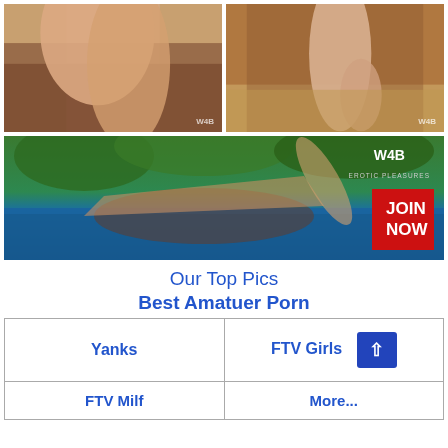[Figure (photo): Close-up photo of person's legs on a brown leather sofa, warm tones, watermarked W4B]
[Figure (photo): Photo of person's legs and feet on a brown leather chair on wooden floor, watermarked W4B]
[Figure (photo): Wide banner photo of person in a pool with tropical greenery background; W4B Erotic Pleasures logo; red JOIN NOW button overlay]
Our Top Pics
Best Amatuer Porn
| Yanks | FTV Girls |
| --- | --- |
| FTV Milf | More... |